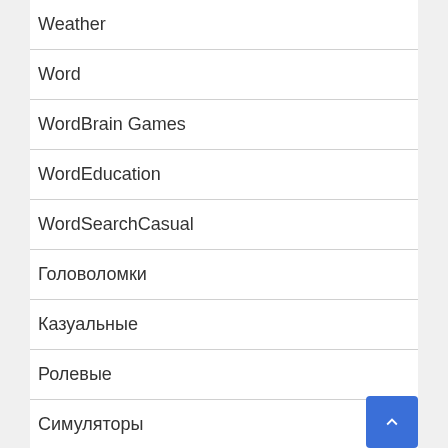Weather
Word
WordBrain Games
WordEducation
WordSearchCasual
Головоломки
Казуальные
Ролевые
Симуляторы